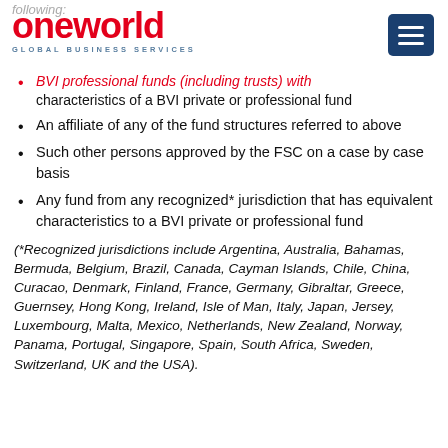oneworld GLOBAL BUSINESS SERVICES
BVI professional funds (including trusts) with characteristics of a BVI private or professional fund
An affiliate of any of the fund structures referred to above
Such other persons approved by the FSC on a case by case basis
Any fund from any recognized* jurisdiction that has equivalent characteristics to a BVI private or professional fund
(*Recognized jurisdictions include Argentina, Australia, Bahamas, Bermuda, Belgium, Brazil, Canada, Cayman Islands, Chile, China, Curacao, Denmark, Finland, France, Germany, Gibraltar, Greece, Guernsey, Hong Kong, Ireland, Isle of Man, Italy, Japan, Jersey, Luxembourg, Malta, Mexico, Netherlands, New Zealand, Norway, Panama, Portugal, Singapore, Spain, South Africa, Sweden, Switzerland, UK and the USA).